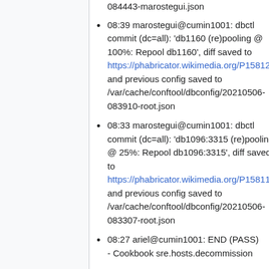084443-marostegui.json
08:39 marostegui@cumin1001: dbctl commit (dc=all): 'db1160 (re)pooling @ 100%: Repool db1160', diff saved to https://phabricator.wikimedia.org/P15812 and previous config saved to /var/cache/conftool/dbconfig/20210506-083910-root.json
08:33 marostegui@cumin1001: dbctl commit (dc=all): 'db1096:3315 (re)pooling @ 25%: Repool db1096:3315', diff saved to https://phabricator.wikimedia.org/P15811 and previous config saved to /var/cache/conftool/dbconfig/20210506-083307-root.json
08:27 ariel@cumin1001: END (PASS) - Cookbook sre.hosts.decommission